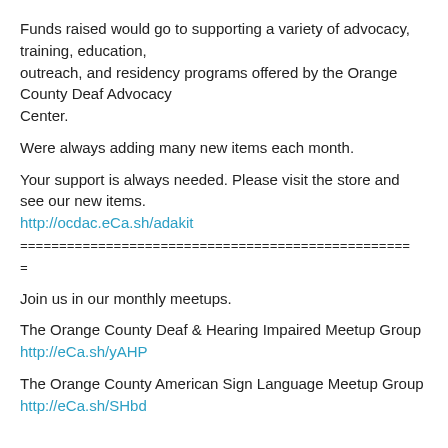Funds raised would go to supporting a variety of advocacy, training, education, outreach, and residency programs offered by the Orange County Deaf Advocacy Center.
Were always adding many new items each month.
Your support is always needed. Please visit the store and see our new items.
http://ocdac.eCa.sh/adakit
================================================= =
Join us in our monthly meetups.
The Orange County Deaf & Hearing Impaired Meetup Group
http://eCa.sh/yAHP
The Orange County American Sign Language Meetup Group
http://eCa.sh/SHbd